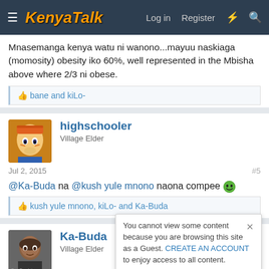KenyaTalk — Log in  Register
Mnasemanga kenya watu ni wanono...mayuu naskiaga (momosity) obesity iko 60%, well represented in the Mbisha above where 2/3 ni obese.
👍 bane and kiLo-
highschooler — Village Elder
Jul 2, 2015  #5
@Ka-Buda na @kush yule mnono naona compee 😁
👍 kush yule mnono, kiLo- and Ka-Buda
Ka-Buda — Village Elder
Jul 2, 2015  #6
You cannot view some content because you are browsing this site as a Guest. CREATE AN ACCOUNT to enjoy access to all content.